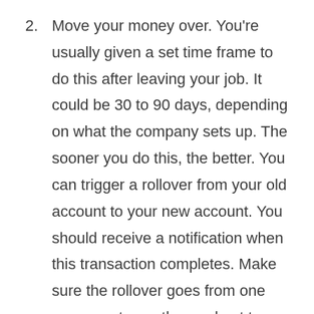2. Move your money over. You're usually given a set time frame to do this after leaving your job. It could be 30 to 90 days, depending on what the company sets up. The sooner you do this, the better. You can trigger a rollover from your old account to your new account. You should receive a notification when this transaction completes. Make sure the rollover goes from one company to another and not to you directly. If a check goes to you, it could be considered a cashout, and you'd be